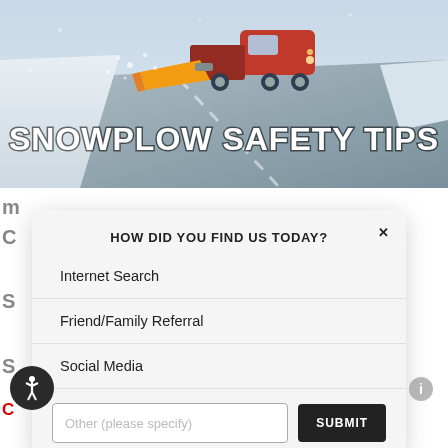[Figure (photo): A snowplow truck clearing a snowy road in winter weather, viewed from above. Large white bold text overlay reads 'Snowplow Safety Tips'.]
Snowplow Safety Tips
HOW DID YOU FIND US TODAY?
Internet Search
Friend/Family Referral
Social Media
Other (please specify)
SUBMIT